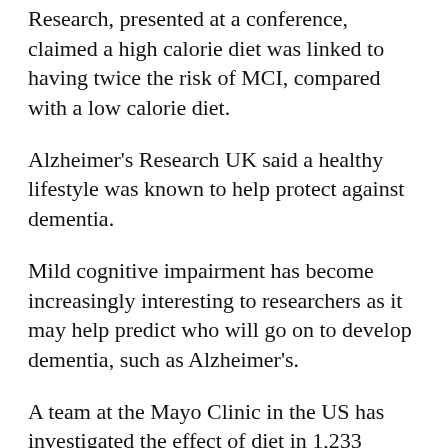Research, presented at a conference, claimed a high calorie diet was linked to having twice the risk of MCI, compared with a low calorie diet.
Alzheimer's Research UK said a healthy lifestyle was known to help protect against dementia.
Mild cognitive impairment has become increasingly interesting to researchers as it may help predict who will go on to develop dementia, such as Alzheimer's.
A team at the Mayo Clinic in the US has investigated the effect of diet in 1,233 people aged between 70 and 89. None had dementia, but 163 were diagnosed with mild cognitive impairment.
The patients were divided into low calorie intake (600 to 1,526 calories a day), middle (1,526 to 2,142.5) and high (2,142.5 to 6,000) and the incidence of mild cognitive